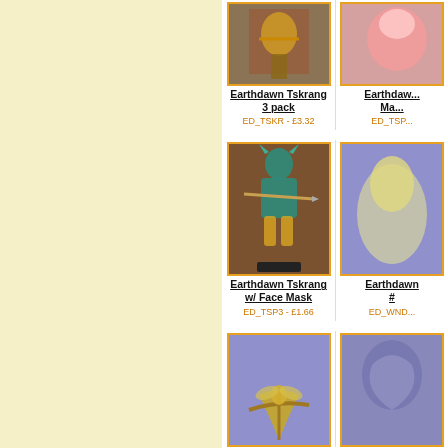[Figure (photo): Earthdawn Tskrang 3 pack miniature figure - painted colorful figurine on orange-bordered card]
Earthdawn Tskrang 3 pack
ED_TSKR - £3.32
[Figure (photo): Earthdawn Ma... miniature - partially visible on right edge]
Earthdaw... Ma...
ED_TSP...
[Figure (photo): Earthdawn Tskrang w/ Face Mask miniature - painted teal/green lizard warrior with spear]
Earthdawn Tskrang w/ Face Mask
ED_TSP3 - £1.66
[Figure (photo): Earthdawn # miniature - partially visible gold/white creature on purple background]
Earthdawn #
ED_WND...
[Figure (photo): Gold fairy/elf figure sitting on tree branch miniature on purple background]
[Figure (photo): Blue/grey relief sculpt of bird/nature scene partially visible]